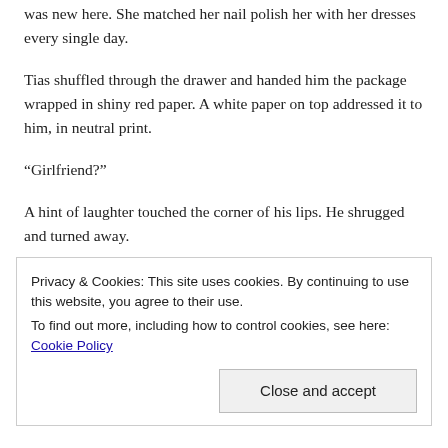was new here. She matched her nail polish her with her dresses every single day.
Tias shuffled through the drawer and handed him the package wrapped in shiny red paper. A white paper on top addressed it to him, in neutral print.
“Girlfriend?”
A hint of laughter touched the corner of his lips. He shrugged and turned away.
In his cabin, he opened the wrapper, taking care that he did
Privacy & Cookies: This site uses cookies. By continuing to use this website, you agree to their use.
To find out more, including how to control cookies, see here: Cookie Policy
Close and accept
mouth. or would he has said it hadn’t already. or that.